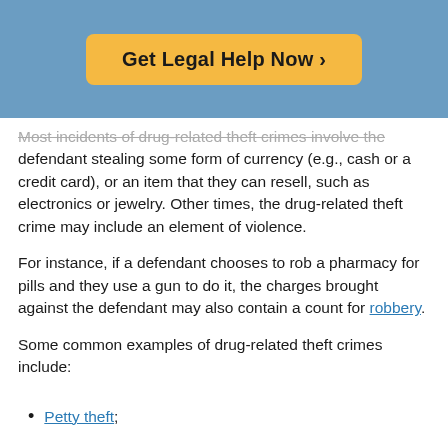[Figure (other): Orange 'Get Legal Help Now >' button on blue banner background]
Most incidents of drug-related theft crimes involve the defendant stealing some form of currency (e.g., cash or a credit card), or an item that they can resell, such as electronics or jewelry. Other times, the drug-related theft crime may include an element of violence.
For instance, if a defendant chooses to rob a pharmacy for pills and they use a gun to do it, the charges brought against the defendant may also contain a count for robbery.
Some common examples of drug-related theft crimes include:
Petty theft;